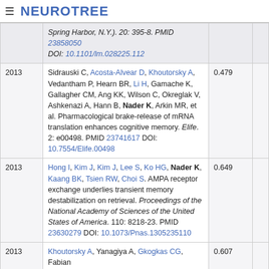NEUROTREE
| Year | Reference | Score |  |
| --- | --- | --- | --- |
|  | Spring Harbor, N.Y.). 20: 395-8. PMID 23858050 DOI: 10.1101/lm.028225.112 |  |  |
| 2013 | Sidrauski C, Acosta-Alvear D, Khoutorsky A, Vedantham P, Hearn BR, Li H, Gamache K, Gallagher CM, Ang KK, Wilson C, Okreglak V, Ashkenazi A, Hann B, Nader K, Arkin MR, et al. Pharmacological brake-release of mRNA translation enhances cognitive memory. Elife. 2: e00498. PMID 23741617 DOI: 10.7554/Elife.00498 | 0.479 |  |
| 2013 | Hong I, Kim J, Kim J, Lee S, Ko HG, Nader K, Kaang BK, Tsien RW, Choi S. AMPA receptor exchange underlies transient memory destabilization on retrieval. Proceedings of the National Academy of Sciences of the United States of America. 110: 8218-23. PMID 23630279 DOI: 10.1073/Pnas.1305235110 | 0.649 |  |
| 2013 | Khoutorsky A, Yanagiya A, Gkogkas CG, Fabian... | 0.607 |  |